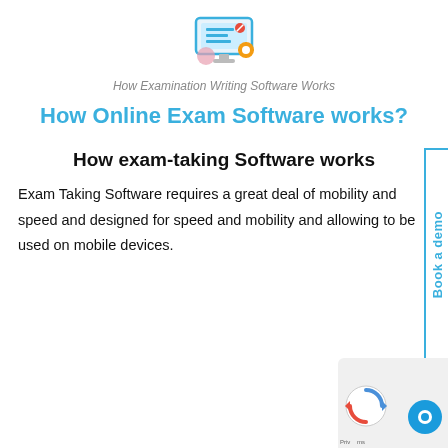[Figure (logo): Colorful icon showing a computer monitor with tools and gears — exam writing software logo]
How Examination Writing Software Works
How Online Exam Software works?
How exam-taking Software works
Exam Taking Software requires a great deal of mobility and speed and designed for speed and mobility and allowing to be used on mobile devices.